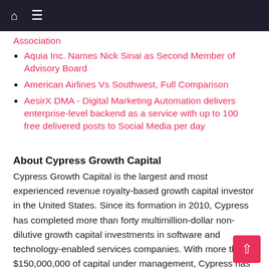Navigation bar with home and menu icons
Association
Aquia Inc. Names Nick Sinai as Second Member of Advisory Board
American Airlines Vs Southwest, Full Comparison
AesirX DMA - Digital Marketing Automation delivers enterprise-level backend as a service with up to 100 free delivered posts to Social Media per day
About Cypress Growth Capital
Cypress Growth Capital is the largest and most experienced revenue royalty-based growth capital investor in the United States. Since its formation in 2010, Cypress has completed more than forty multimillion-dollar non-dilutive growth capital investments in software and technology-enabled services companies. With more than $150,000,000 of capital under management, Cypress has an established track record of funding emerging companies and helping